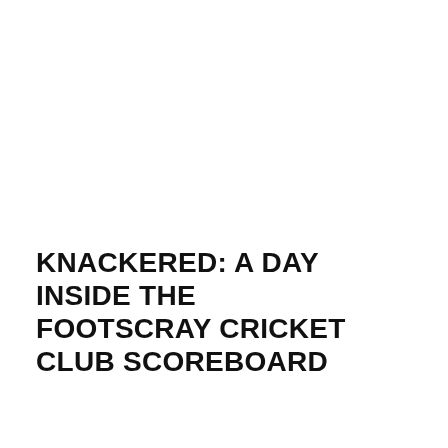KNACKERED: A DAY INSIDE THE FOOTSCRAY CRICKET CLUB SCOREBOARD